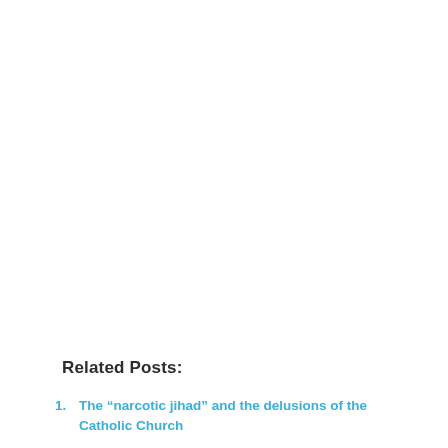Related Posts:
1. The “narcotic jihad” and the delusions of the Catholic Church